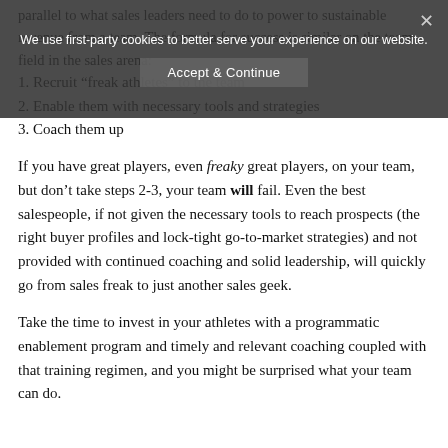parallel to what sales leaders need to do to power to sustainable revenue from a team. The formula for success is similar on the team field in the sales arena:
1. Recruit “freak athletes” to the team
2. Enable them with necessary tools and strategies
3. Coach them up
If you have great players, even freaky great players, on your team, but don’t take steps 2-3, your team will fail. Even the best salespeople, if not given the necessary tools to reach prospects (the right buyer profiles and lock-tight go-to-market strategies) and not provided with continued coaching and solid leadership, will quickly go from sales freak to just another sales geek.
Take the time to invest in your athletes with a programmatic enablement program and timely and relevant coaching coupled with that training regimen, and you might be surprised what your team can do.